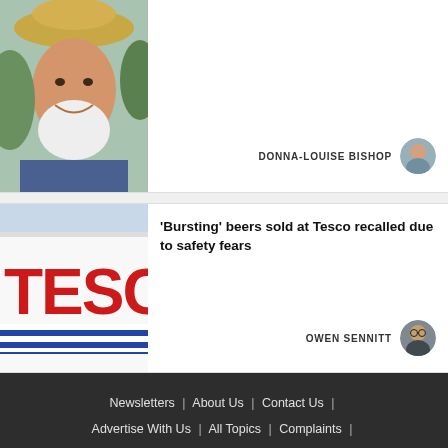[Figure (photo): Partial photo of an elderly man with a white beard wearing a sun hat, outdoors]
DONNA-LOUISE BISHOP
[Figure (photo): Tesco store sign with red letters on white background and blue striped awning]
'Bursting' beers sold at Tesco recalled due to safety fears
OWEN SENNITT
Newsletters | About Us | Contact Us | Advertise With Us | All Topics | Complaints | Jobs at Archant | Contributors Charter | Cookie Policy | Privacy Policy | Terms & Conditions | Archant | Manage Cookies